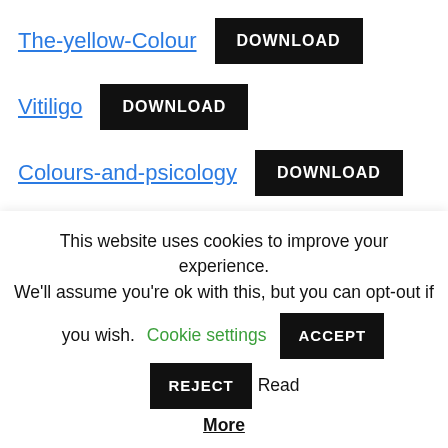The-yellow-Colour  DOWNLOAD
Vitiligo  DOWNLOAD
Colours-and-psicology  DOWNLOAD
19th May 2021
The Science of Colour
This website uses cookies to improve your experience. We'll assume you're ok with this, but you can opt-out if you wish. Cookie settings  ACCEPT  REJECT  Read More